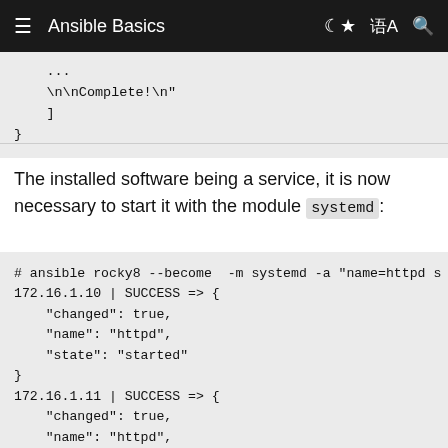Ansible Basics
...
\n\nComplete!\n"
    ]
}
The installed software being a service, it is now necessary to start it with the module systemd:
# ansible rocky8 --become  -m systemd -a "name=httpd s
172.16.1.10 | SUCCESS => {
    "changed": true,
    "name": "httpd",
    "state": "started"
}
172.16.1.11 | SUCCESS => {
    "changed": true,
    "name": "httpd",
    "state": "started"
}